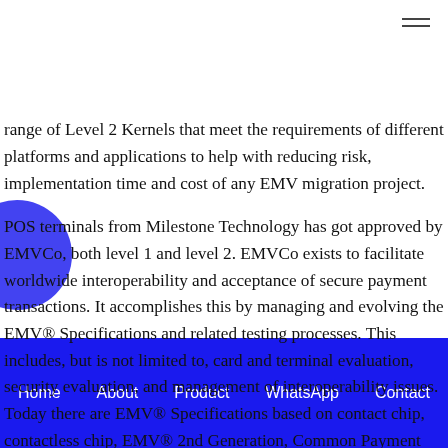(partially visible top text)
range of Level 2 Kernels that meet the requirements of different platforms and applications to help with reducing risk, implementation time and cost of any EMV migration project. POS terminals from Milestone Technology has got approved by EMVCo, both level 1 and level 2. EMVCo exists to facilitate worldwide interoperability and acceptance of secure payment transactions. It accomplishes this by managing and evolving the EMV® Specifications and related testing processes. This includes, but is not limited to, card and terminal evaluation, security evaluation, and management of interoperability issues. Today there are EMV® Specifications based on contact chip, contactless chip, EMV® 2nd Generation, Common Payment Application (CPA), card personalization, Payment Tokenisation, and 3-D Secure.
Home   About   Product   WhatsApp   Contact